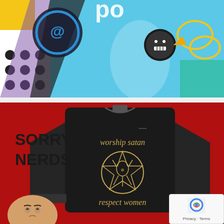[Figure (illustration): Colorful graphic with pop-art style elements: polka dots on white/black background on left, large blue diagonal shape in center, text 'po' visible at top, circular logo with blue rings on left side, and a round button/token with a face emoji and yellow rings on the right]
[Figure (photo): Red background image showing a black long-sleeve jersey/shirt with text 'worship satan' at top and 'respect women' at bottom, with a pentagram/Baphomet symbol in gold in the center. Text 'SORRY NERDS' in block letters on the left side. A baby's face visible in the bottom left corner.]